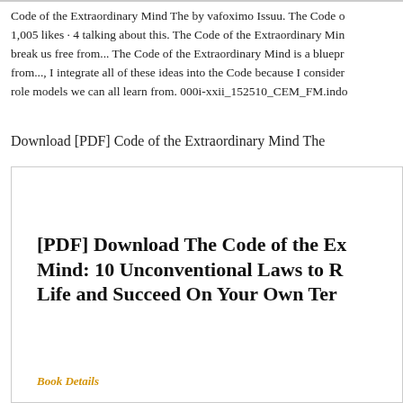Code of the Extraordinary Mind The by vafoximo Issuu. The Code o 1,005 likes · 4 talking about this. The Code of the Extraordinary Min break us free from... The Code of the Extraordinary Mind is a bluepr from..., I integrate all of these ideas into the Code because I consider role models we can all learn from. 000i-xxii_152510_CEM_FM.indo
Download [PDF] Code of the Extraordinary Mind The
[PDF] Download The Code of the Ex Mind: 10 Unconventional Laws to R Life and Succeed On Your Own Ter
Book Details
Author : Vishen Lakhiani
Pages : 290 pages